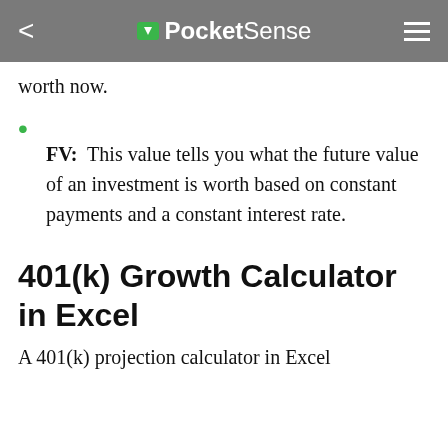PocketSense
worth now.
FV: This value tells you what the future value of an investment is worth based on constant payments and a constant interest rate.
401(k) Growth Calculator in Excel
A 401(k) projection calculator in Excel